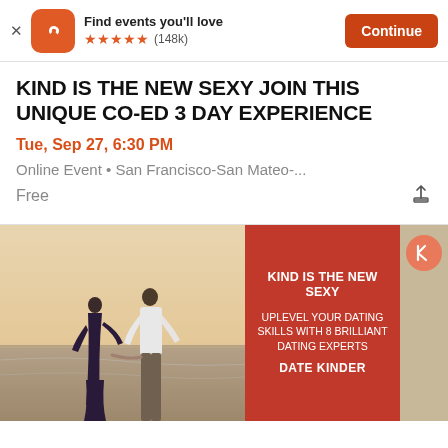[Figure (screenshot): Eventbrite app banner with orange logo showing stylized 'e', tagline 'Find events you'll love', five orange stars, (148k) reviews, and a dark red 'Continue' button]
KIND IS THE NEW SEXY JOIN THIS UNIQUE CO-ED 3 DAY EXPERIENCE
Tue, Sep 27, 6:30 PM
Online Event • San Francisco-San Mateo-...
Free
[Figure (photo): Event promotional image showing a couple on a beach on the left half, and a red panel on the right with text 'KIND IS THE NEW SEXY', 'UPLEVEL YOUR DATING SKILLS WITH 8 BRILLIANT DATING EXPERTS', 'DATE KINDER', and a circular logo with stylized K]